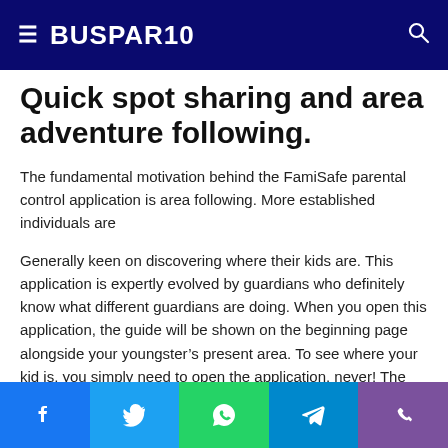BUSPAR10
Quick spot sharing and area adventure following.
The fundamental motivation behind the FamiSafe parental control application is area following. More established individuals are
Generally keen on discovering where their kids are. This application is expertly evolved by guardians who definitely know what different guardians are doing. When you open this application, the guide will be shown on the beginning page alongside your youngster's present area. To see where your kid is, you simply need to open the application. never! The
Social share bar: Facebook, Twitter, WhatsApp, Telegram, Viber